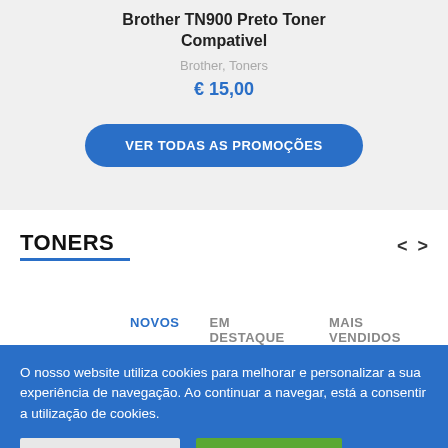Brother TN900 Preto Toner Compativel
Brother, Toners
€ 15,00
VER TODAS AS PROMOÇÕES
TONERS
NOVOS   EM DESTAQUE   MAIS VENDIDOS
O nosso website utiliza cookies para melhorar e personalizar a sua experiência de navegação. Ao continuar a navegar, está a consentir a utilização de cookies.
Configurar Cookies
Aceitar Cookies